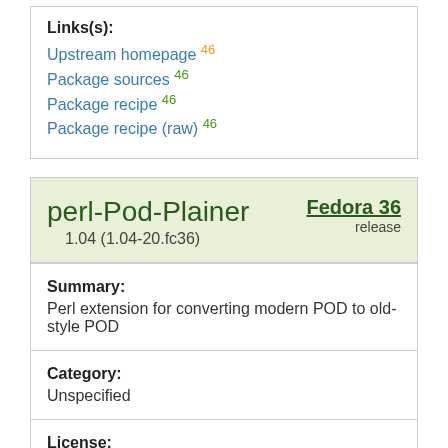Links(s):
Upstream homepage 46
Package sources 46
Package recipe 46
Package recipe (raw) 46
perl-Pod-Plainer
1.04 (1.04-20.fc36)
Fedora 36 release
Summary: Perl extension for converting modern POD to old-style POD
Category: Unspecified
License: GPL+ or Artistic
Links(s): Upstream homepage 46